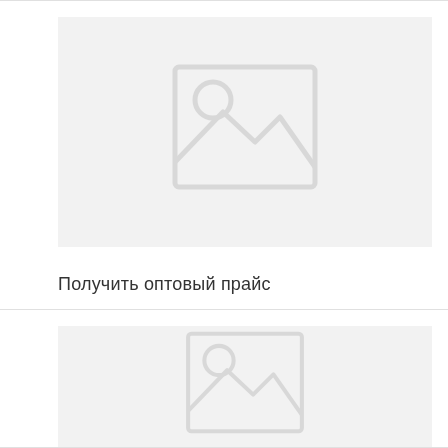[Figure (illustration): Placeholder image with grey background showing a generic image icon (mountains and circle/sun)]
Получить оптовый прайс
[Figure (illustration): Placeholder image with grey background showing a generic image icon (mountains and circle/sun), partially visible at bottom of page]